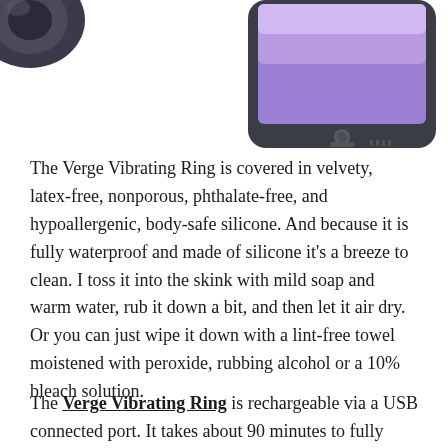[Figure (photo): Partial view of a black product (vibrating ring) on the left, and a smartphone (iPhone) on the right showing a colorful screen, both cropped at the top of the page.]
The Verge Vibrating Ring is covered in velvety, latex-free, nonporous, phthalate-free, and hypoallergenic, body-safe silicone. And because it is fully waterproof and made of silicone it's a breeze to clean. I toss it into the skink with mild soap and warm water, rub it down a bit, and then let it air dry. Or you can just wipe it down with a lint-free towel moistened with peroxide, rubbing alcohol or a 10% bleach solution.
The Verge Vibrating Ring is rechargeable via a USB connected port. It takes about 90 minutes to fully charge